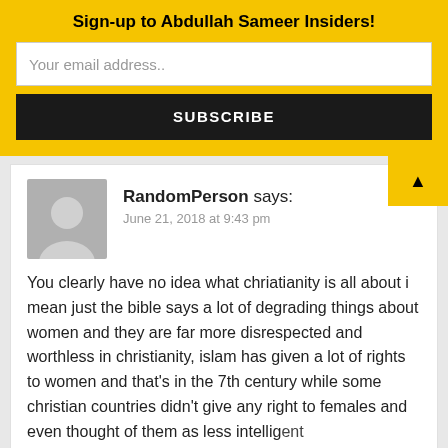Sign-up to Abdullah Sameer Insiders!
Your email address..
SUBSCRIBE
RandomPerson says:
June 21, 2018 at 9:43 pm
You clearly have no idea what chriatianity is all about i mean just the bible says a lot of degrading things about women and they are far more disrespected and worthless in christianity, islam has given a lot of rights to women and that's in the 7th century while some christian countries didn't give any right to females and even thought of them as less intelligent than men and made their lives a complete fucking hell it even was totally okay for a priest to rape a women and this untill the early and mid 1900s so get